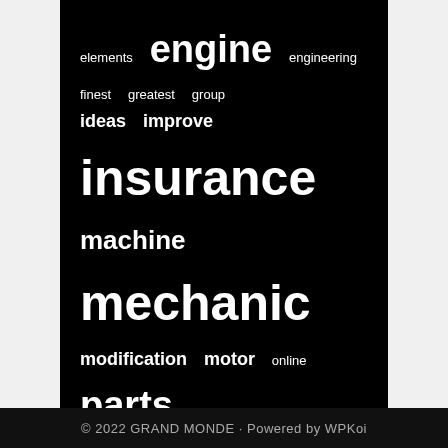[Figure (infographic): Tag cloud on black background with automotive-related keywords in varying font sizes indicating frequency/importance. Words include: elements, engine, engineering, finest, greatest, group, ideas, improve, insurance, machine, mechanic, modification, motor, online, parts, performance, physique, racing, repair, repairs, restore, service, showroom, store, superior, technician, tinting, upgrade, upgrades, vehicle, vehicles, window.]
© 2022 GRAND MONDE • Powered by WPKoi